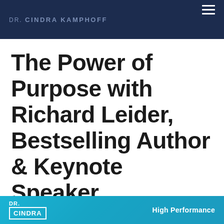DR. CINDRA KAMPHOFF
The Power of Purpose with Richard Leider, Bestselling Author & Keynote Speaker
By Cindra Kamphoff | May 1, 2020
[Figure (photo): Bottom banner showing Dr. Cindra Kamphoff branding with teal background and 'High Performance' text on the right]